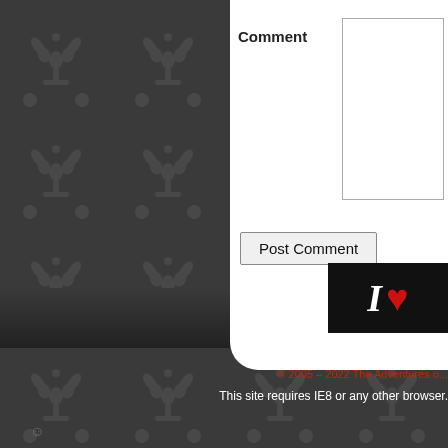Comment
[Figure (screenshot): Comment textarea input box with border]
Post Comment
[Figure (other): I heart logo badge with white I and red heart on black background]
© 2005 – 2022 The Adventures of...
This site requires IE8 or any other browser.